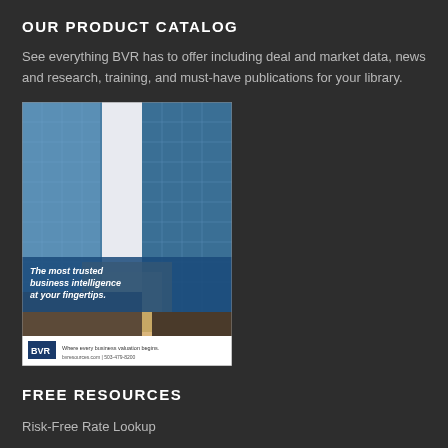OUR PRODUCT CATALOG
See everything BVR has to offer including deal and market data, news and research, training, and must-have publications for your library.
[Figure (illustration): BVR product catalog brochure cover showing tall glass skyscrapers from below, with a blue overlay band reading 'The most trusted business intelligence at your fingertips.' BVR logo and tagline 'Where every business valuation begins.' at the bottom.]
FREE RESOURCES
Risk-Free Rate Lookup
Free Articles & Webinars